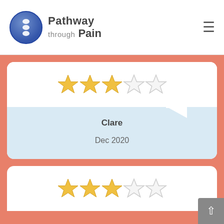Pathway through Pain
[Figure (other): Star rating: 3 out of 5 filled stars (review by Clare, Dec 2020)]
Clare
Dec 2020
[Figure (other): Star rating: 3 out of 5 filled stars (second review card, partially visible)]